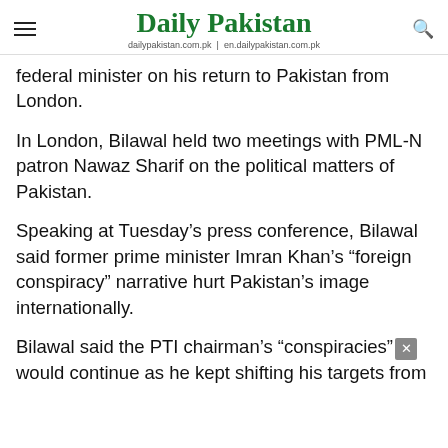Daily Pakistan | dailypakistan.com.pk | en.dailypakistan.com.pk
federal minister on his return to Pakistan from London.
In London, Bilawal held two meetings with PML-N patron Nawaz Sharif on the political matters of Pakistan.
Speaking at Tuesday’s press conference, Bilawal said former prime minister Imran Khan’s “foreign conspiracy” narrative hurt Pakistan’s image internationally.
Bilawal said the PTI chairman’s “conspiracies” would continue as he kept shifting his targets from…